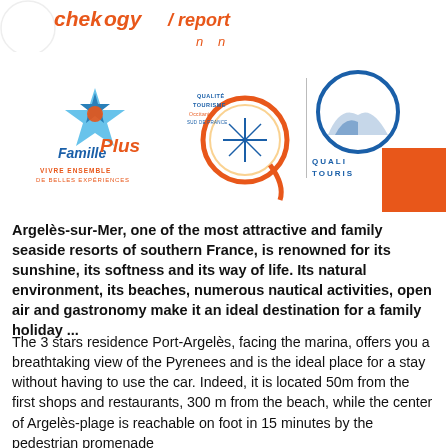chekogy / [social icons]
[Figure (logo): Famille Plus logo with star and text 'VIVRE ENSEMBLE DE BELLES EXPERIENCES']
[Figure (logo): Qualite Tourisme Occitanie Sud de France logo]
[Figure (logo): Qualite Tourisme logo with orange square]
Argelès-sur-Mer, one of the most attractive and family seaside resorts of southern France, is renowned for its sunshine, its softness and its way of life. Its natural environment, its beaches, numerous nautical activities, open air and gastronomy make it an ideal destination for a family holiday ...
The 3 stars residence Port-Argelès, facing the marina, offers you a breathtaking view of the Pyrenees and is the ideal place for a stay without having to use the car. Indeed, it is located 50m from the first shops and restaurants, 300 m from the beach, while the center of Argelès-plage is reachable on foot in 15 minutes by the pedestrian promenade